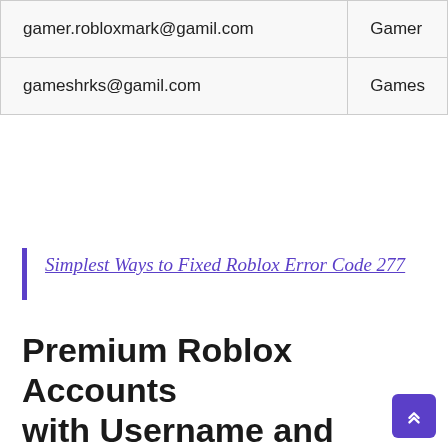| gamer.robloxmark@gamil.com | Gamer |
| gameshrks@gamil.com | Games |
Simplest Ways to Fixed Roblox Error Code 277
Premium Roblox Accounts with Username and Passwords
A list of Roblox premium accounts with usernames and passwords that you may use to log into your favorite Roblox game is